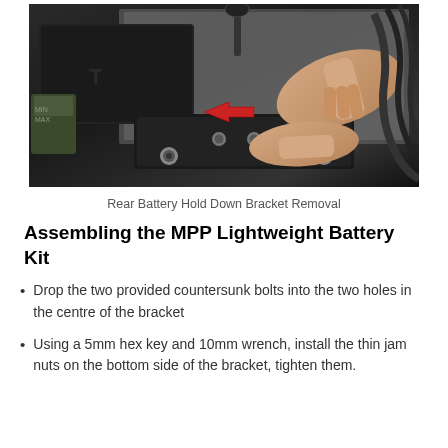[Figure (photo): Photo of a person's hands working on a car engine bay, removing the rear battery hold down bracket. A red arrow points to the area of focus near a black plastic battery bracket with bolts. Visible engine components in background.]
Rear Battery Hold Down Bracket Removal
Assembling the MPP Lightweight Battery Kit
Drop the two provided countersunk bolts into the two holes in the centre of the bracket
Using a 5mm hex key and 10mm wrench, install the thin jam nuts on the bottom side of the bracket, tighten them.